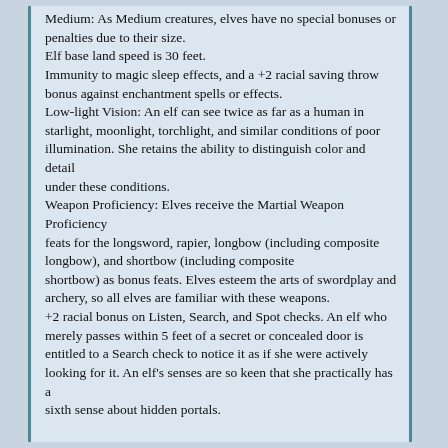Medium: As Medium creatures, elves have no special bonuses or penalties due to their size. Elf base land speed is 30 feet. Immunity to magic sleep effects, and a +2 racial saving throw bonus against enchantment spells or effects. Low-light Vision: An elf can see twice as far as a human in starlight, moonlight, torchlight, and similar conditions of poor illumination. She retains the ability to distinguish color and detail under these conditions. Weapon Proficiency: Elves receive the Martial Weapon Proficiency feats for the longsword, rapier, longbow (including composite longbow), and shortbow (including composite shortbow) as bonus feats. Elves esteem the arts of swordplay and archery, so all elves are familiar with these weapons. +2 racial bonus on Listen, Search, and Spot checks. An elf who merely passes within 5 feet of a secret or concealed door is entitled to a Search check to notice it as if she were actively looking for it. An elf's senses are so keen that she practically has a sixth sense about hidden portals.